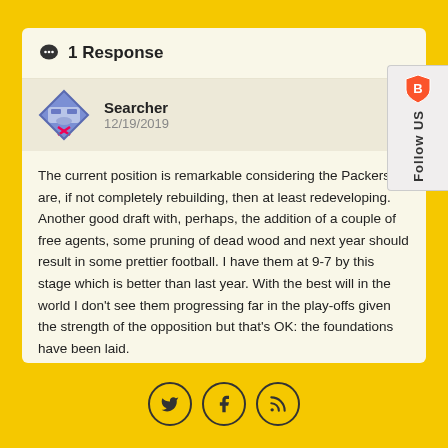1 Response
Searcher
12/19/2019
The current position is remarkable considering the Packers are, if not completely rebuilding, then at least redeveloping. Another good draft with, perhaps, the addition of a couple of free agents, some pruning of dead wood and next year should result in some prettier football. I have them at 9-7 by this stage which is better than last year. With the best will in the world I don't see them progressing far in the play-offs given the strength of the opposition but that's OK: the foundations have been laid.
[Figure (logo): Brave browser Follow Us badge with shield logo]